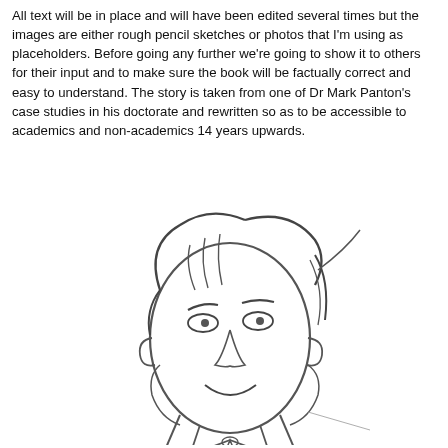All text will be in place and will have been edited several times but the images are either rough pencil sketches or photos that I'm using as placeholders. Before going any further we're going to show it to others for their input and to make sure the book will be factually correct and easy to understand. The story is taken from one of Dr Mark Panton's case studies in his doctorate and rewritten so as to be accessible to academics and non-academics 14 years upwards.
[Figure (illustration): A rough pencil sketch of a man's face and upper body, with casual cartoon-style hair, simple facial features including eyes with a slight smirk, a nose, and a smile. The figure wears a collared shirt with a tie. The drawing style is loose and gestural.]